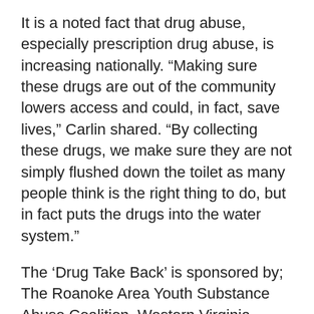It is a noted fact that drug abuse, especially prescription drug abuse, is increasing nationally. “Making sure these drugs are out of the community lowers access and could, in fact, save lives,” Carlin shared. “By collecting these drugs, we make sure they are not simply flushed down the toilet as many people think is the right thing to do, but in fact puts the drugs into the water system.”
The ‘Drug Take Back’ is sponsored by; The Roanoke Area Youth Substance Abuse Coalition, Western Virginia Water Authority U.S. Drug Enforcement Administration, Prevention Council of Roanoke County Botetourt County Sheriff’s Department, Roanoke Police Department, Craig County Sheriff’s Department, Franklin County Sheriff’s Department, Roanoke County Sheriff’s Department Roanoke County Police Department, Salem Police Department, Roanoke Valley Academy of Medicine, Vinton Police Department and U.S. Attorney’s Office Western